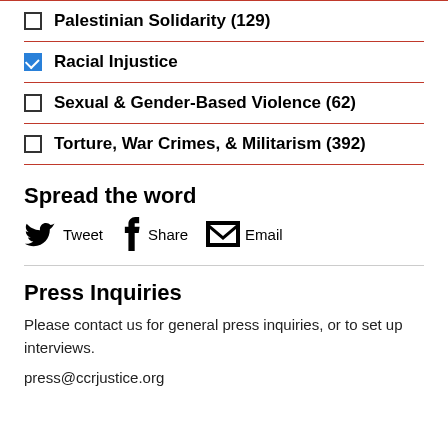Palestinian Solidarity (129)
Racial Injustice
Sexual & Gender-Based Violence (62)
Torture, War Crimes, & Militarism (392)
Spread the word
Tweet  Share  Email
Press Inquiries
Please contact us for general press inquiries, or to set up interviews.
press@ccrjustice.org